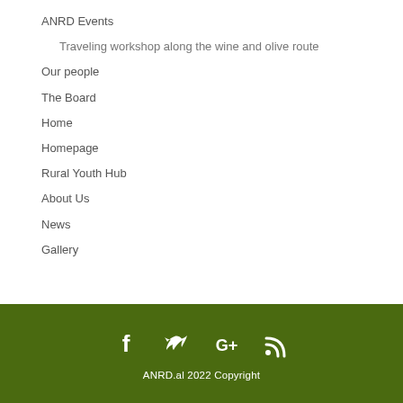ANRD Events
Traveling workshop along the wine and olive route
Our people
The Board
Home
Homepage
Rural Youth Hub
About Us
News
Gallery
ANRD.al 2022 Copyright